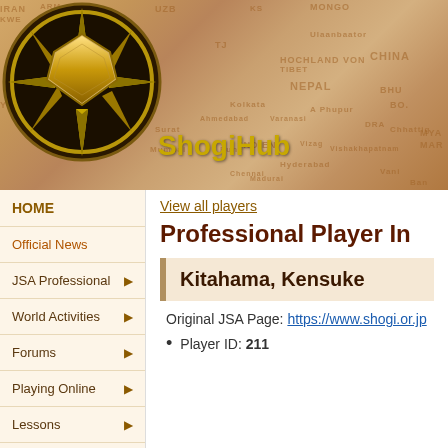[Figure (logo): ShogiHub website header with compass/shogi piece logo on a sepia-toned world map background. The logo shows a golden shogi piece inside a compass rose within a dark gold ring. Text reads 'ShogiHub' in gold.]
HOME
Official News
JSA Professional
World Activities
Forums
Playing Online
Lessons
Shogi Books
View all players
Professional Player In
Kitahama, Kensuke
Original JSA Page: https://www.shogi.or.jp
Player ID:  211